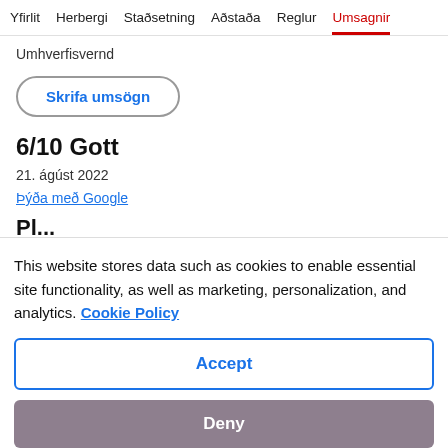Yfirlit   Herbergi   Staðsetning   Aðstaða   Reglur   Umsagnir
Umhverfisvernd
Skrifa umsögn
6/10 Gott
21. ágúst 2022
Þýða með Google
Pl...
This website stores data such as cookies to enable essential site functionality, as well as marketing, personalization, and analytics. Cookie Policy
Accept
Deny